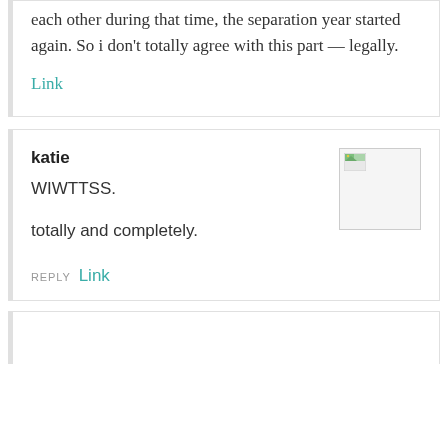each other during that time, the separation year started again. So i don't totally agree with this part — legally.
Link
katie
WIWTTSS.
totally and completely.
REPLY Link